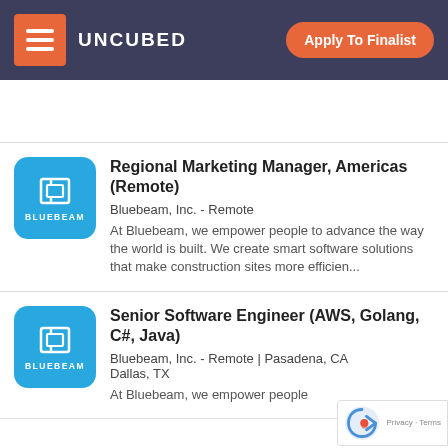UNCUBED | Apply To Finalist
[Figure (illustration): Empty white spacer area with bottom divider line]
[Figure (logo): Bluebeam company logo - blue rounded square with white icon and BLUEBEAM text]
Regional Marketing Manager, Americas (Remote)
Bluebeam, Inc. - Remote
At Bluebeam, we empower people to advance the way the world is built. We create smart software solutions that make construction sites more efficien...
[Figure (logo): Bluebeam company logo - blue rounded square with white icon and BLUEBEAM text]
Senior Software Engineer (AWS, Golang, C#, Java)
Bluebeam, Inc. - Remote | Pasadena, CA Dallas, TX
At Bluebeam, we empower people